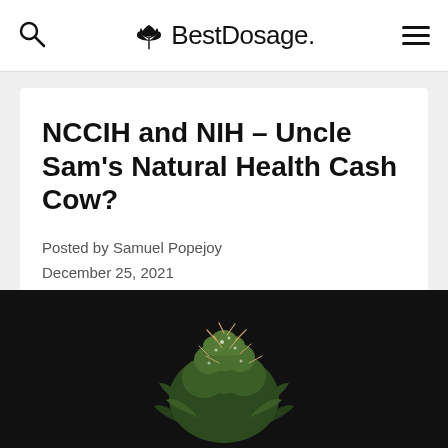BestDosage.
NCCIH and NIH – Uncle Sam's Natural Health Cash Cow?
Posted by Samuel Popejoy
December 25, 2021
[Figure (photo): Close-up photo of a cannabis/marijuana bud on a dark background]